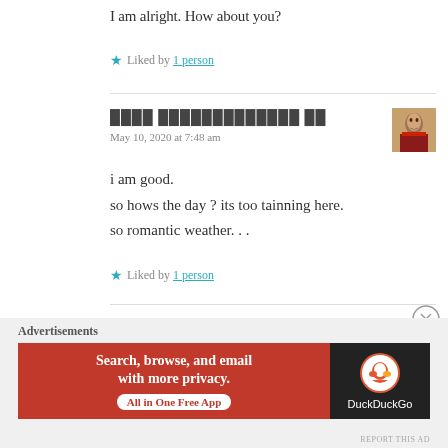I am alright. How about you?
★ Liked by 1 person
████ █████████████ ██   May 10, 2020 at 7:48 am
i am good.
so hows the day ? its too tainning here.
so romantic weather...
★ Liked by 1 person
[Figure (photo): User avatar photo showing a woman in traditional attire]
[Figure (infographic): DuckDuckGo advertisement banner: Search, browse, and email with more privacy. All in One Free App. DuckDuckGo logo.]